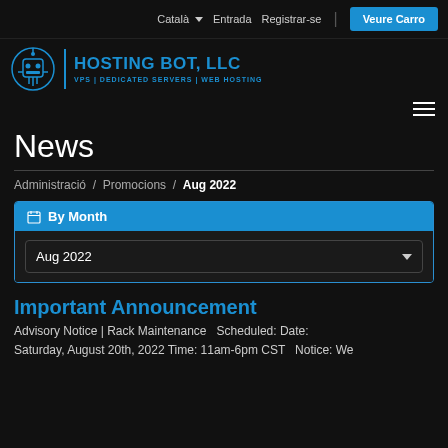Català  Entrada  Registrar-se  Veure Carro
[Figure (logo): Hosting Bot LLC logo with robot icon and text VPS | DEDICATED SERVERS | WEB HOSTING]
News
Administració / Promocions / Aug 2022
By Month
Aug 2022
Important Announcement
Advisory Notice | Rack Maintenance  Scheduled: Date: Saturday, August 20th, 2022 Time: 11am-6pm CST  Notice: We